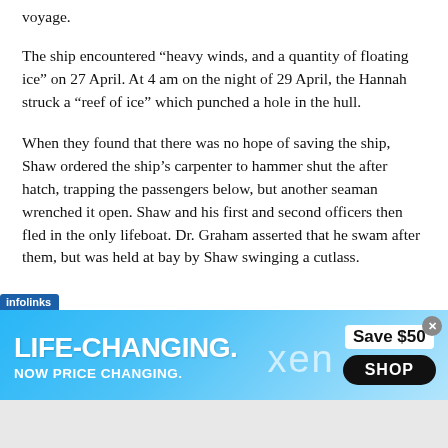voyage.
The ship encountered “heavy winds, and a quantity of floating ice” on 27 April. At 4 am on the night of 29 April, the Hannah struck a “reef of ice” which punched a hole in the hull.
When they found that there was no hope of saving the ship, Shaw ordered the ship’s carpenter to hammer shut the after hatch, trapping the passengers below, but another seaman wrenched it open. Shaw and his first and second officers then fled in the only lifeboat. Dr. Graham asserted that he swam after them, but was held at bay by Shaw swinging a cutlass.
[Figure (other): Advertisement banner with infolinks label. Blue gradient background. Large white bold text: LIFE-CHANGING. NOW PRICE CHANGING. Faded 'xen' text in center. Right side: Save $50 and SHOP button in black rounded rectangle. Close button top right.]